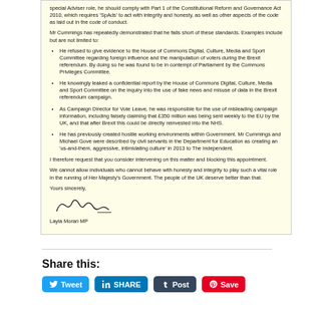special Adviser role, he should comply with Part 1 of the Constitutional Reform and Governance Act 2010, which requires 'SpAds' to act with integrity and honesty, as well as other aspects of the code as laid out in the code of conduct.
Mr Cummings has repeatedly demonstrated that he falls short of these standards. Examples include but are not limited to:
He refused to give evidence to the House of Commons Digital, Culture, Media and Sport Committee regarding foreign influence and the manipulation of voters during the Brexit referendum. By doing so he was found to be in contempt of Parliament by the Commons Privileges Committee.
He knowingly leaked a confidential report by the House of Commons Digital, Culture, Media and Sport Committee on the inquiry into the use of fake news and misuse of data in the Brexit referendum campaign.
As Campaign Director for Vote Leave, he was responsible for the use of misleading campaign information, including falsely claiming that £350 million was being sent weekly to the EU by the UK, and that after Brexit this could be directly reinvested into the NHS.
He has previously created hostile working environments within Government. Mr Cummings and Michael Gove were described by civil servants in the Department for Education as creating an 'us-and-them, aggressive, intimidating culture' in 2013 to The Independent.
I therefore request that you consider intervening on this matter and blocking this appointment.
We cannot allow individuals who cannot behave with honesty and integrity to play such a vital role in the running of Her Majesty's Government. The people of the UK deserve better than that.
Yours sincerely,
[Figure (illustration): Handwritten signature of Layla Moran MP]
Layla Moran MP
Share this:
Tweet | SHARE | Post | Save